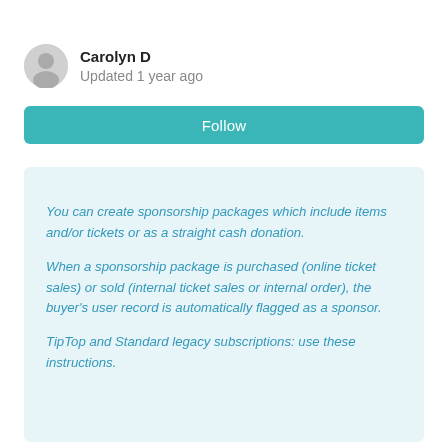Carolyn D
Updated 1 year ago
Follow
You can create sponsorship packages which include items and/or tickets or as a straight cash donation.

When a sponsorship package is purchased (online ticket sales) or sold (internal ticket sales or internal order), the buyer's user record is automatically flagged as a sponsor.

TipTop and Standard legacy subscriptions: use these instructions.